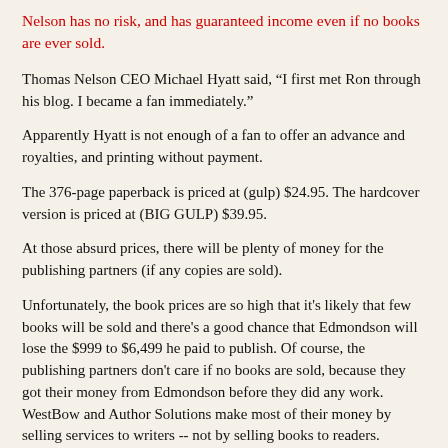Nelson has no risk, and has guaranteed income even if no books are ever sold.
Thomas Nelson CEO Michael Hyatt said, “I first met Ron through his blog. I became a fan immediately.”
Apparently Hyatt is not enough of a fan to offer an advance and royalties, and printing without payment.
The 376-page paperback is priced at (gulp) $24.95. The hardcover version is priced at (BIG GULP) $39.95.
At those absurd prices, there will be plenty of money for the publishing partners (if any copies are sold).
Unfortunately, the book prices are so high that it's likely that few books will be sold and there's a good chance that Edmondson will lose the $999 to $6,499 he paid to publish. Of course, the publishing partners don't care if no books are sold, because they got their money from Edmondson before they did any work. WestBow and Author Solutions make most of their money by selling services to writers -- not by selling books to readers.